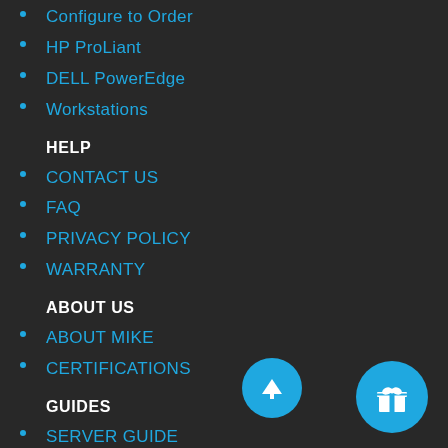Configure to Order
HP ProLiant
DELL PowerEdge
Workstations
HELP
CONTACT US
FAQ
PRIVACY POLICY
WARRANTY
ABOUT US
ABOUT MIKE
CERTIFICATIONS
GUIDES
SERVER GUIDE
RAID SETUP GUIDE